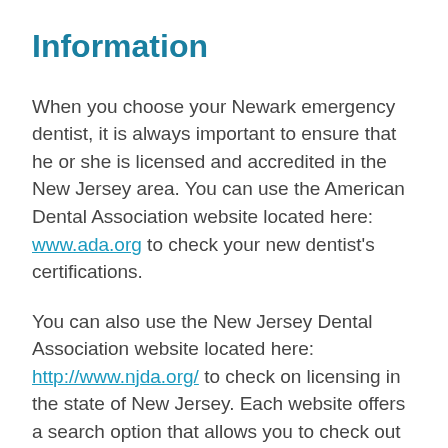Information
When you choose your Newark emergency dentist, it is always important to ensure that he or she is licensed and accredited in the New Jersey area. You can use the American Dental Association website located here: www.ada.org to check your new dentist's certifications.
You can also use the New Jersey Dental Association website located here: http://www.njda.org/ to check on licensing in the state of New Jersey. Each website offers a search option that allows you to check out